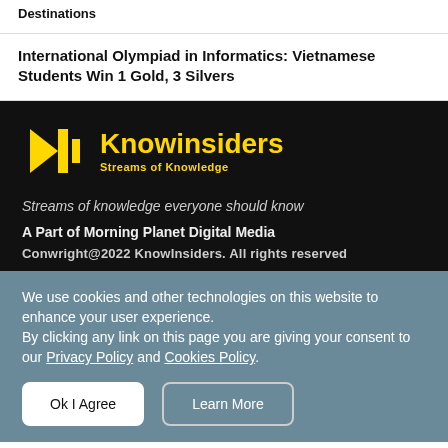Destinations
International Olympiad in Informatics: Vietnamese Students Win 1 Gold, 3 Silvers
[Figure (logo): Knowinsiders logo — yellow K icon with text 'Knowinsiders' and subtitle 'Streams of Knowledge' on black background]
Streams of knowledge everyone should know
A Part of Morning Planet Digital Media
Conwright@2022 KnowInsiders. All rights reserved
We use cookies and other technologies on this website to enhance your user experience. By clicking any link on this page you are giving your consent to our Privacy Policy and Cookies Policy.